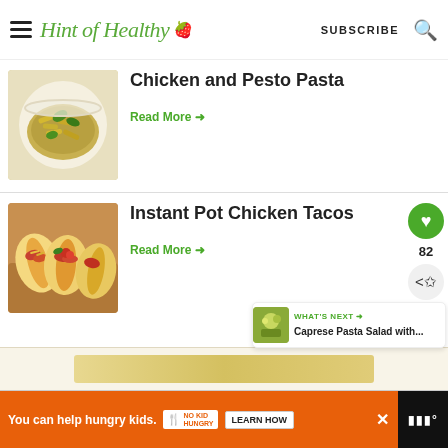Hint of Healthy | SUBSCRIBE
Chicken and Pesto Pasta
Read More →
Instant Pot Chicken Tacos
Read More →
WHAT'S NEXT → Caprese Pasta Salad with...
You can help hungry kids. NO KID HUNGRY LEARN HOW